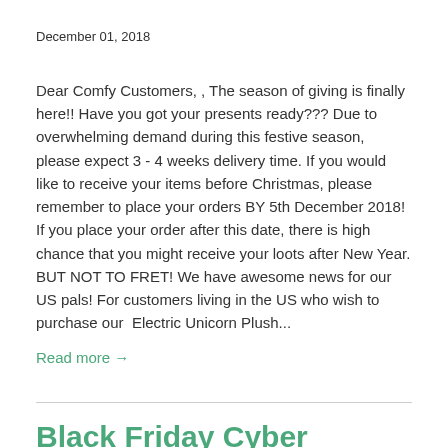December 01, 2018
Dear Comfy Customers, , The season of giving is finally here!! Have you got your presents ready??? Due to overwhelming demand during this festive season, please expect 3 - 4 weeks delivery time. If you would like to receive your items before Christmas, please remember to place your orders BY 5th December 2018! If you place your order after this date, there is high chance that you might receive your loots after New Year. BUT NOT TO FRET! We have awesome news for our US pals! For customers living in the US who wish to purchase our  Electric Unicorn Plush...
Read more →
Black Friday Cyber Monday